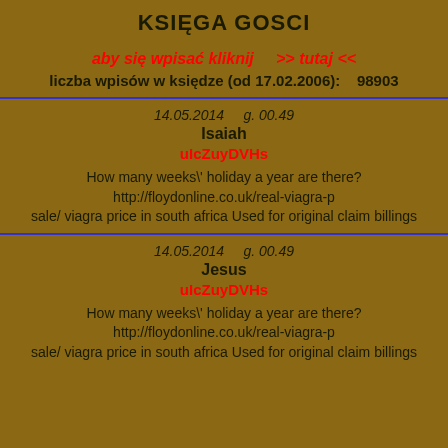KSIĘGA GOSCI
aby się wpisać kliknij    >> tutaj <<
liczba wpisów w księdze (od 17.02.2006):    98903
14.05.2014    g. 00.49
Isaiah
uIcZuyDVHs
How many weeks\' holiday a year are there? http://floydonline.co.uk/real-viagra-p sale/ viagra price in south africa Used for original claim billings
14.05.2014    g. 00.49
Jesus
uIcZuyDVHs
How many weeks\' holiday a year are there? http://floydonline.co.uk/real-viagra-p sale/ viagra price in south africa Used for original claim billings